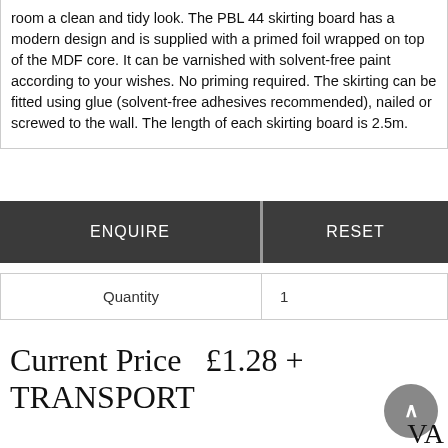room a clean and tidy look. The PBL 44 skirting board has a modern design and is supplied with a primed foil wrapped on top of the MDF core. It can be varnished with solvent-free paint according to your wishes. No priming required. The skirting can be fitted using glue (solvent-free adhesives recommended), nailed or screwed to the wall. The length of each skirting board is 2.5m.
ENQUIRE
RESET
| Quantity |  |
| --- | --- |
| Quantity | 1 |
Current Price   £1.28 + TRANSPORT VA